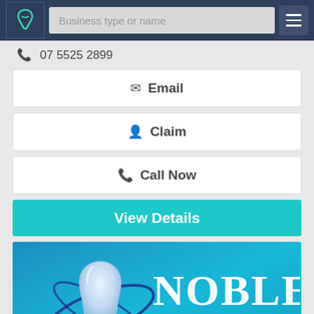Business type or name
07 5525 2899
Email
Claim
Call Now
View Details
[Figure (logo): Noble Denture Design logo — white tooth graphic with blue orbital rings on a teal/blue gradient background, with 'Noble' in large white serif text top right and 'Denture Design' in large white serif text at bottom center]